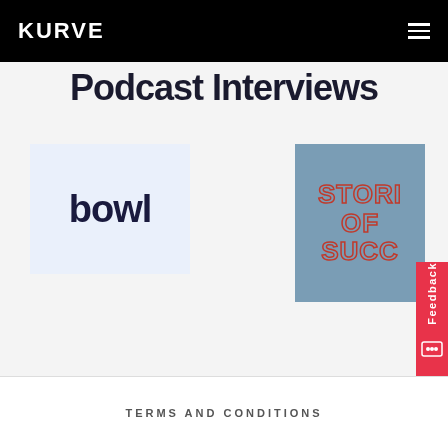KURVE
Podcast Interviews
[Figure (logo): Bowl app logo — bold dark navy text reading 'bowl' on a light blue background card]
[Figure (logo): Stories of Success logo — outlined bold red text on a grey-blue background card, partially cropped]
[Figure (other): Feedback tab on right side with red background and a feedback icon]
TERMS AND CONDITIONS